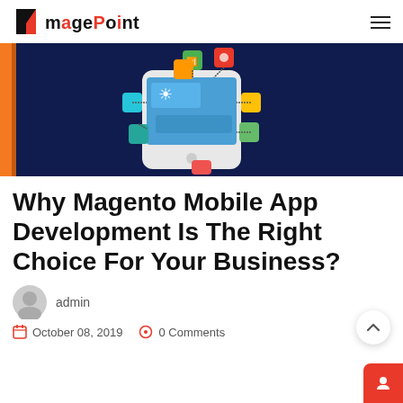magePoint — navigation header
[Figure (illustration): Dark navy blue hero banner with orange vertical stripe on left side and a 3D isometric smartphone illustration with colorful app icons floating above it on a dark navy background.]
Why Magento Mobile App Development Is The Right Choice For Your Business?
admin
October 08, 2019   0 Comments